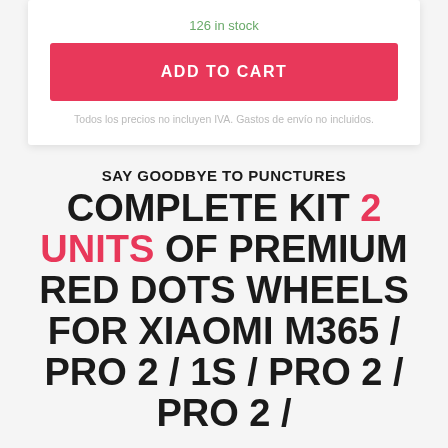126 in stock
ADD TO CART
Todos los precios no incluyen IVA. Gastos de envío no incluidos.
SAY GOODBYE TO PUNCTURES
COMPLETE KIT 2 UNITS OF PREMIUM RED DOTS WHEELS FOR XIAOMI M365 / PRO 2 / 1S / PRO 2 / PRO 2 /